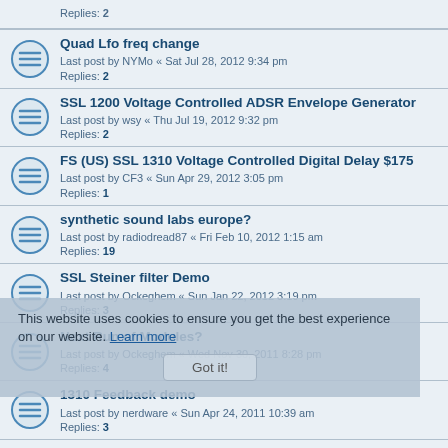Replies: 2
Quad Lfo freq change — Last post by NYMo « Sat Jul 28, 2012 9:34 pm — Replies: 2
SSL 1200 Voltage Controlled ADSR Envelope Generator — Last post by wsy « Thu Jul 19, 2012 9:32 pm — Replies: 2
FS (US) SSL 1310 Voltage Controlled Digital Delay $175 — Last post by CF3 « Sun Apr 29, 2012 3:05 pm — Replies: 1
synthetic sound labs europe? — Last post by radiodread87 « Fri Feb 10, 2012 1:15 am — Replies: 19
SSL Steiner filter Demo — Last post by Ockeghem « Sun Jan 22, 2012 3:19 pm — Replies: 3
Next Run of Modules? — Last post by Ockeghem « Wed Nov 30, 2011 8:28 pm — Replies: 4
1310 Feedback demo — Last post by nerdware « Sun Apr 24, 2011 10:39 am — Replies: 3
New SSL 1020 Steiner Filter Module — Last post by dslocum « Tue Feb 08, 2011 3:18 pm — Replies: 4
1310 Clock Noise Improvement — Last post by dslocum « Tue Dec 21, 2010 1:00 pm — Replies: 14